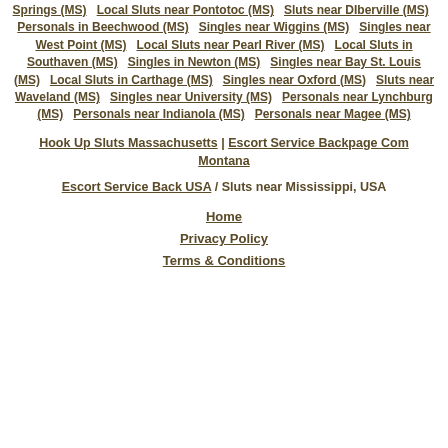Springs (MS)  Local Sluts near Pontotoc (MS)  Sluts near DIberville (MS)  Personals in Beechwood (MS)  Singles near Wiggins (MS)  Singles near West Point (MS)  Local Sluts near Pearl River (MS)  Local Sluts in Southaven (MS)  Singles in Newton (MS)  Singles near Bay St. Louis (MS)  Local Sluts in Carthage (MS)  Singles near Oxford (MS)  Sluts near Waveland (MS)  Singles near University (MS)  Personals near Lynchburg (MS)  Personals near Indianola (MS)  Personals near Magee (MS)
Hook Up Sluts Massachusetts | Escort Service Backpage Com Montana
Escort Service Back USA / Sluts near Mississippi, USA
Home
Privacy Policy
Terms & Conditions